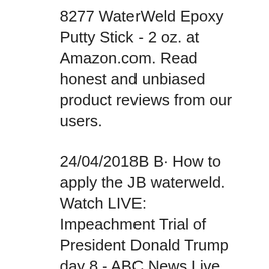8277 WaterWeld Epoxy Putty Stick - 2 oz. at Amazon.com. Read honest and unbiased product reviews from our users.
24/04/2018B B· How to apply the JB waterweld. Watch LIVE: Impeachment Trial of President Donald Trump day 8 - ABC News Live Coverage ABC News 14,540 watching Live now Find J-B Weld WaterWeld, 2 oz. in the Epoxy category at Tractor Supply Co.This J-B Weld WaterWeld Specially Formulated Epoxy Putty works with fi
Description. KLAUS BADELT (Eva Niño) – He's a Pirate (from Pirates of the Caribbean) – this music has been